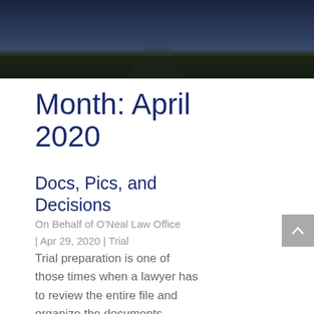[Figure (photo): Dark aerial/landscape photograph used as hero banner image at top of page]
Month: April 2020
Docs, Pics, and Decisions
On Behalf of O'Neal Law Office | Apr 29, 2020 | Trial
Trial preparation is one of those times when a lawyer has to review the entire file and organize the documents